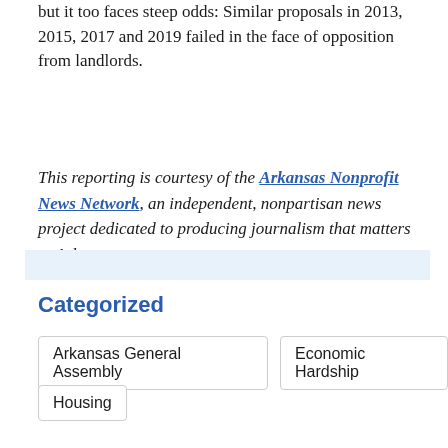but it too faces steep odds: Similar proposals in 2013, 2015, 2017 and 2019 failed in the face of opposition from landlords.
This reporting is courtesy of the Arkansas Nonprofit News Network, an independent, nonpartisan news project dedicated to producing journalism that matters to Arkansans.
Categorized
Arkansas General Assembly
Economic Hardship
Housing